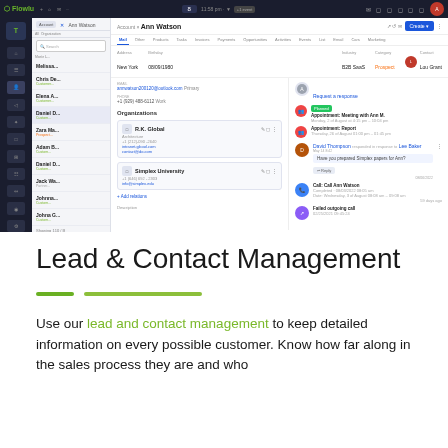[Figure (screenshot): Flowlu CRM application screenshot showing a contact record for Ann Watson with left navigation sidebar, contact list panel, contact detail with tabs (Mail, Other, Products, Tasks, Invoices, Payments, Opportunities, Activities, Events, List, Email, Cars, Marketing), info fields (Address, Birthday, Account No, Industry, Category Prospect, Contact Lou Grant), email/phone fields, Organizations section with R.K. Global and Simplex University cards, and right timeline showing meeting appointments, comments, call logs, and outgoing mail entries.]
Lead & Contact Management
Use our lead and contact management to keep detailed information on every possible customer. Know how far along in the sales process they are and who